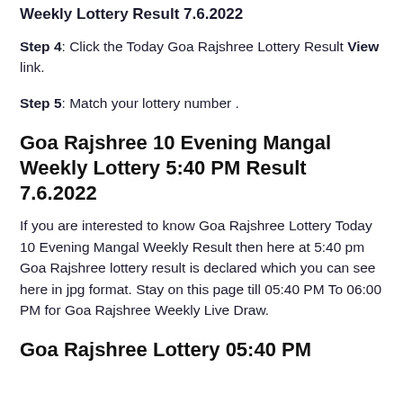Weekly Lottery Result 7.6.2022
Step 4: Click the Today Goa Rajshree Lottery Result View link.
Step 5: Match your lottery number .
Goa Rajshree 10 Evening Mangal Weekly Lottery 5:40 PM Result 7.6.2022
If you are interested to know Goa Rajshree Lottery Today 10 Evening Mangal Weekly Result then here at 5:40 pm Goa Rajshree lottery result is declared which you can see here in jpg format. Stay on this page till 05:40 PM To 06:00 PM for Goa Rajshree Weekly Live Draw.
Goa Rajshree Lottery 05:40 PM